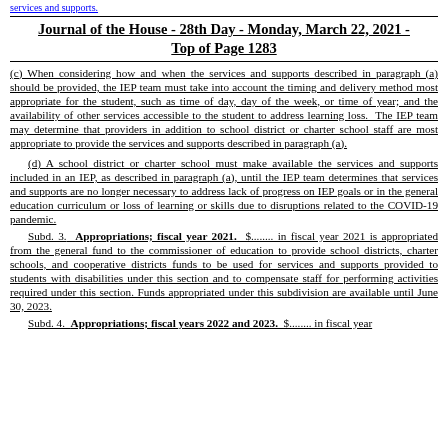services and supports.
Journal of the House - 28th Day - Monday, March 22, 2021 - Top of Page 1283
(c) When considering how and when the services and supports described in paragraph (a) should be provided, the IEP team must take into account the timing and delivery method most appropriate for the student, such as time of day, day of the week, or time of year; and the availability of other services accessible to the student to address learning loss.  The IEP team may determine that providers in addition to school district or charter school staff are most appropriate to provide the services and supports described in paragraph (a).
(d) A school district or charter school must make available the services and supports included in an IEP, as described in paragraph (a), until the IEP team determines that services and supports are no longer necessary to address lack of progress on IEP goals or in the general education curriculum or loss of learning or skills due to disruptions related to the COVID-19 pandemic.
Subd. 3. Appropriations; fiscal year 2021. $........ in fiscal year 2021 is appropriated from the general fund to the commissioner of education to provide school districts, charter schools, and cooperative districts funds to be used for services and supports provided to students with disabilities under this section and to compensate staff for performing activities required under this section. Funds appropriated under this subdivision are available until June 30, 2023.
Subd. 4. Appropriations; fiscal years 2022 and 2023. $........ in fiscal year